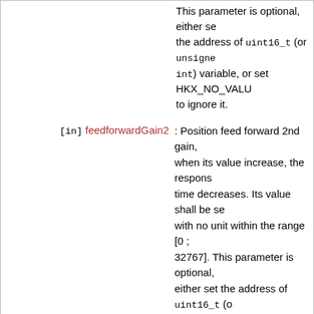This parameter is optional, either set the address of uint16_t (or unsigned int) variable, or set HKX_NO_VALUE to ignore it.
[in] feedforwardGain2 : Position feed forward 2nd gain, when its value increase, the response time decreases. Its value shall be set with no unit within the range [0 ; 32767]. This parameter is optional, either set the address of uint16_t (or unsigned int) variable, or set HKX_NO_VALUE to ignore it.
Returns
0 = OK
1 = Input not correct
uint8_t
HkxSetup::setAllErrorsCheckPeriod ( uint16_t LEDBlink, uint16_t ADCFault,